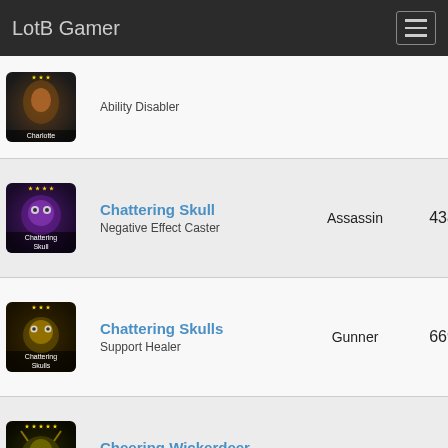LotB Gamer
| Champion | Name / Role | Class | Score |
| --- | --- | --- | --- |
| Charlotte image | Ability Disabler |  |  |
| Chattering Skull image | Chattering Skull / Negative Effect Caster | Assassin | 4386 |
| Chattering Skulls image | Chattering Skulls / Support Healer | Gunner | 6691 |
| Cheering Wickerdeer image | Cheering Wickerdeer / Party Enhancer | Gunner | 11331 |
| Child of the Damned image | Child of the Damned / Multiple Turn Attacker | Warrior | 9187 |